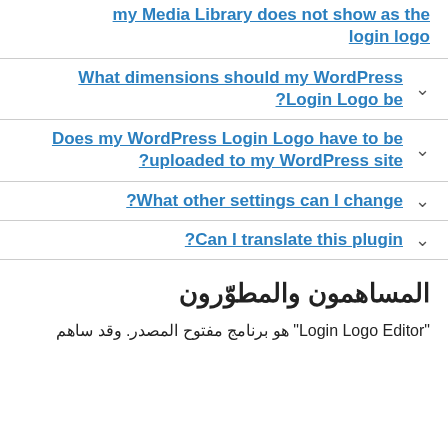my Media Library does not show as the login logo
What dimensions should my WordPress Login Logo be?
Does my WordPress Login Logo have to be uploaded to my WordPress site?
What other settings can I change?
Can I translate this plugin?
المساهمون والمطوّرون
"Login Logo Editor" هو برنامج مفتوح المصدر. وقد ساهم